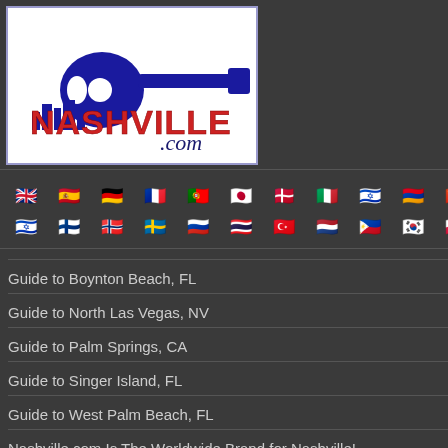[Figure (logo): Nashville.com logo with blue guitar/skyline silhouette and red NASHVILLE text with navy .com in italic script]
[Figure (infographic): Row of country flag icons representing language options: UK, Spain, Germany, France, Portugal, Japan, Denmark, Italy, Israel, unknown, China, Israel, Finland, Norway, Sweden, Russia, Thailand, Turkey, Netherlands, Philippines, South Korea, Poland, Iran, Vietnam]
Guide to Boynton Beach, FL
Guide to North Las Vegas, NV
Guide to Palm Springs, CA
Guide to Singer Island, FL
Guide to West Palm Beach, FL
Nashville.com Is The Worldwide Brand for Nashville!